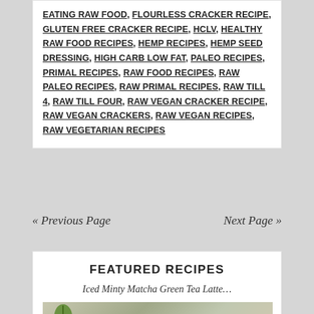EATING RAW FOOD, FLOURLESS CRACKER RECIPE, GLUTEN FREE CRACKER RECIPE, HCLV, HEALTHY RAW FOOD RECIPES, HEMP RECIPES, HEMP SEED DRESSING, HIGH CARB LOW FAT, PALEO RECIPES, PRIMAL RECIPES, RAW FOOD RECIPES, RAW PALEO RECIPES, RAW PRIMAL RECIPES, RAW TILL 4, RAW TILL FOUR, RAW VEGAN CRACKER RECIPE, RAW VEGAN CRACKERS, RAW VEGAN RECIPES, RAW VEGETARIAN RECIPES
« Previous Page
Next Page »
FEATURED RECIPES
Iced Minty Matcha Green Tea Latte…
[Figure (photo): Photo of Iced Matcha Green Tea Latte with text overlay reading 'Iced Matcha' in white and green]